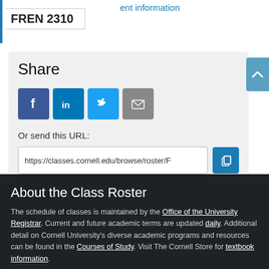ent information
FREN 2310
Share
[Figure (illustration): Social sharing icons: Facebook (blue), LinkedIn (blue), Twitter (light blue), Email (grey)]
Or send this URL:
https://classes.cornell.edu/browse/roster/F
About the Class Roster
The schedule of classes is maintained by the Office of the University Registrar. Current and future academic terms are updated daily. Additional detail on Cornell University's diverse academic programs and resources can be found in the Courses of Study. Visit The Cornell Store for textbook information.